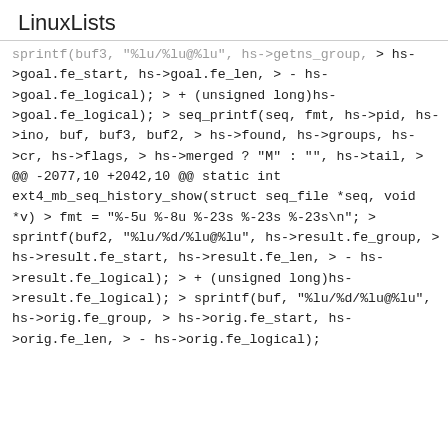LinuxLists
sprintf(buf3, "%lu/%lu@%lu", hs->getns_group,
> hs->goal.fe_start, hs->goal.fe_len,
> - hs->goal.fe_logical);
> + (unsigned long)hs->goal.fe_logical);
> seq_printf(seq, fmt, hs->pid, hs->ino, buf, buf3, buf2,
> hs->found, hs->groups, hs->cr, hs->flags,
> hs->merged ? "M" : "", hs->tail,
> @@ -2077,10 +2042,10 @@ static int ext4_mb_seq_history_show(struct seq_file *seq, void *v)
> fmt = "%-5u %-8u %-23s %-23s %-23s\n";
> sprintf(buf2, "%lu/%d/%lu@%lu", hs->result.fe_group,
> hs->result.fe_start, hs->result.fe_len,
> - hs->result.fe_logical);
> + (unsigned long)hs->result.fe_logical);
> sprintf(buf, "%lu/%d/%lu@%lu", hs->orig.fe_group,
> hs->orig.fe_start, hs->orig.fe_len,
> - hs->orig.fe_logical);